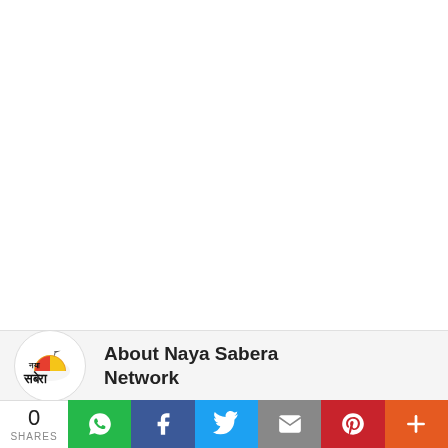[Figure (logo): Naya Sabera Network logo — circular badge with Hindi text 'Naya Sabera' and a sunrise/globe graphic]
About Naya Sabera Network
0 SHARES
[Figure (infographic): Social share bar with WhatsApp, Facebook, Twitter, Email, Pinterest, and More buttons]